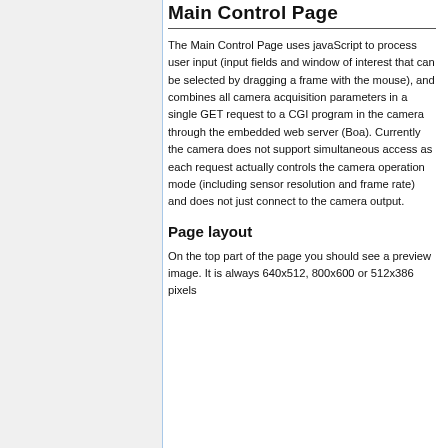Main Control Page
The Main Control Page uses javaScript to process user input (input fields and window of interest that can be selected by dragging a frame with the mouse), and combines all camera acquisition parameters in a single GET request to a CGI program in the camera through the embedded web server (Boa). Currently the camera does not support simultaneous access as each request actually controls the camera operation mode (including sensor resolution and frame rate) and does not just connect to the camera output.
Page layout
On the top part of the page you should see a preview image. It is always 640x512, 800x600 or 512x386 pixels